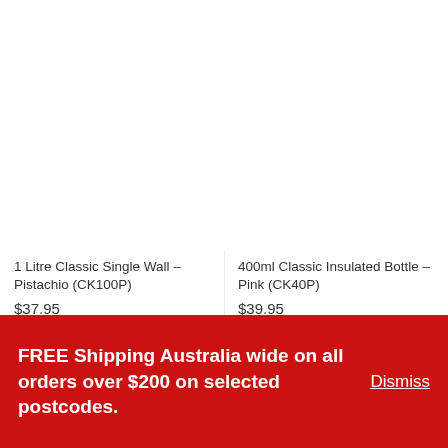1 Litre Classic Single Wall – Pistachio (CK100P)
$37.95
Brands: Cheeki
400ml Classic Insulated Bottle – Pink (CK40P)
$39.95
Brands: Cheeki
FREE Shipping Australia wide on all orders over $200 on selected postcodes.
Dismiss